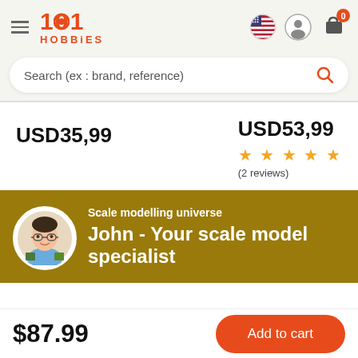1001 HOBBIES
Search (ex : brand, reference)
USD35,99
USD53,99 ★★★★★ (2 reviews)
[Figure (illustration): Avatar of John, a scale model specialist with glasses, on a golden-brown background]
Scale modelling universe
John - Your scale model specialist
$87.99
Add to cart